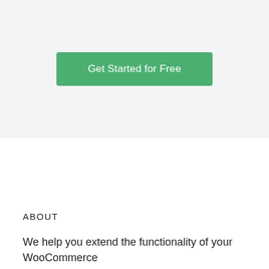[Figure (other): Green call-to-action button labeled 'Get Started for Free' on a light gray background]
ABOUT
We help you extend the functionality of your WooCommerce